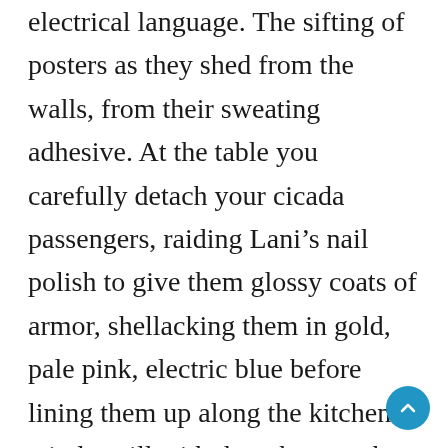electrical language. The sifting of posters as they shed from the walls, from their sweating adhesive. At the table you carefully detach your cicada passengers, raiding Lani's nail polish to give them glossy coats of armor, shellacking them in gold, pale pink, electric blue before lining them up along the kitchen windowsill with the others so that Mum can be surprised the next time she does the dishes. Out there in the yard, she's pulling up handfuls of thistles and having words with